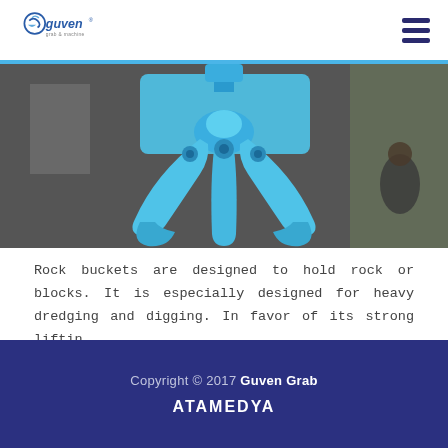Guven Grab & Machine logo and navigation
[Figure (photo): Industrial blue-painted rock bucket grab crane attachment photographed in a workshop setting. The mechanical grab has multiple arms/jaws open, with workers visible in background.]
Rock buckets are designed to hold rock or blocks. It is especially designed for heavy dredging and digging. In favor of its strong liftin...
► More Info
Copyright © 2017 Guven Grab
ATAMEDYA